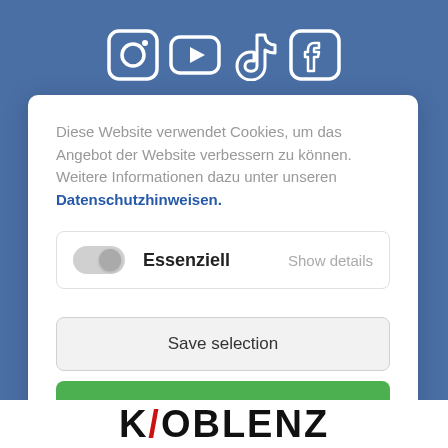[Figure (screenshot): Social media icons: Instagram, YouTube, TikTok, Facebook on blue background header bar]
Diese Website verwendet Cookies, um das Angebot der Website verbessern zu können. Weitere Informationen dazu unter unseren Datenschutzhinweisen.
Essenziell   Show details
Save selection
Accept all
[Figure (logo): KOBLENZ logo partially visible at bottom]